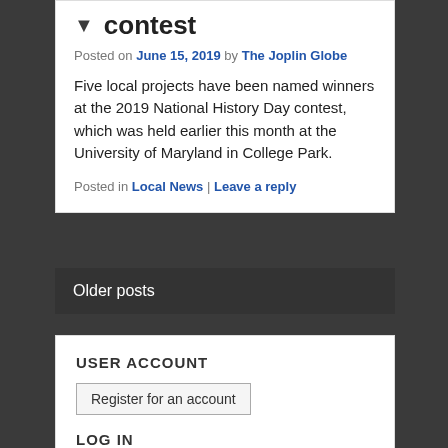contest
Posted on June 15, 2019 by The Joplin Globe
Five local projects have been named winners at the 2019 National History Day contest, which was held earlier this month at the University of Maryland in College Park.
Posted in Local News | Leave a reply
Older posts
USER ACCOUNT
Register for an account
LOG IN
Username or Email Ad...